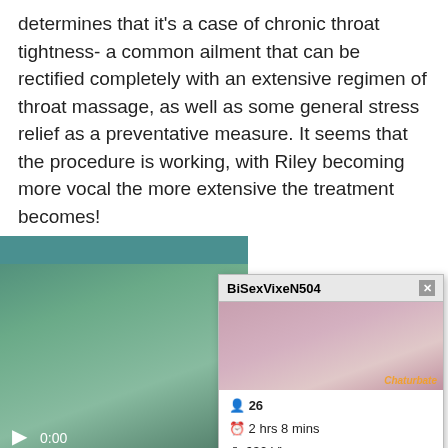determines that it's a case of chronic throat tightness- a common ailment that can be rectified completely with an extensive regimen of throat massage, as well as some general stress relief as a preventative measure. It seems that the procedure is working, with Riley becoming more vocal the more extensive the treatment becomes!
[Figure (screenshot): Screenshot of an adult video player showing a video at 0:00, overlaid by a Chaturbate cam popup for user BiSexVixeN504 showing 26 age, 2 hrs 8 mins, 630 Viewers, Add Friend, a message 'Wanna see my new 10 inch toy?? ;-) Hmu!' and JOIN LIVE CHAT / SEND MESSAGE buttons. Below the video is a 'Download Riley' button.]